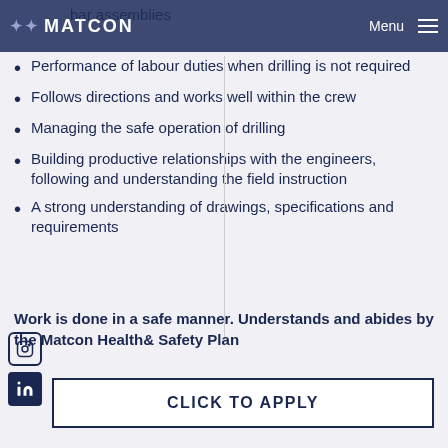MATCON  Menu
bar assemblies
Performance of labour duties when drilling is not required
Follows directions and works well within the crew
Managing the safe operation of drilling
Building productive relationships with the engineers, following and understanding the field instruction
A strong understanding of drawings, specifications and requirements
Work is done in a safe manner.  Understands and abides by the Matcon Health& Safety Plan
CLICK TO APPLY